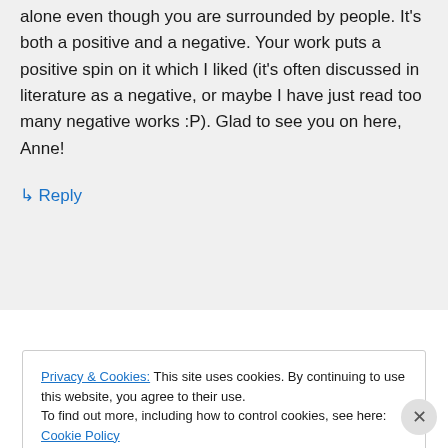alone even though you are surrounded by people. It's both a positive and a negative. Your work puts a positive spin on it which I liked (it's often discussed in literature as a negative, or maybe I have just read too many negative works :P). Glad to see you on here, Anne!
↳ Reply
Privacy & Cookies: This site uses cookies. By continuing to use this website, you agree to their use. To find out more, including how to control cookies, see here: Cookie Policy
Close and accept